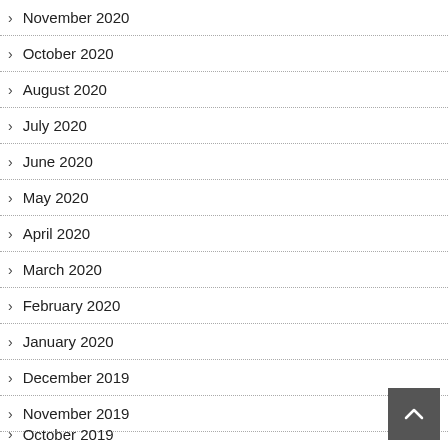> November 2020
> October 2020
> August 2020
> July 2020
> June 2020
> May 2020
> April 2020
> March 2020
> February 2020
> January 2020
> December 2019
> November 2019
> October 2019